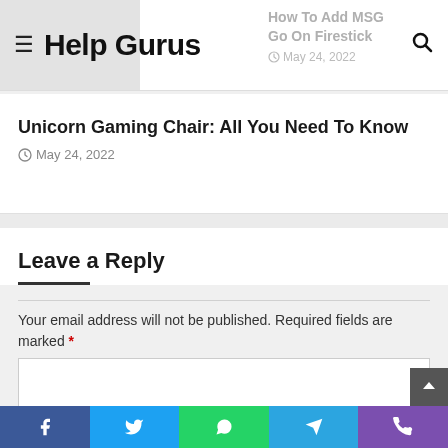Help Gurus
How To Add MSG Go On Firestick
May 24, 2022
Unicorn Gaming Chair: All You Need To Know
May 24, 2022
Leave a Reply
Your email address will not be published. Required fields are marked *